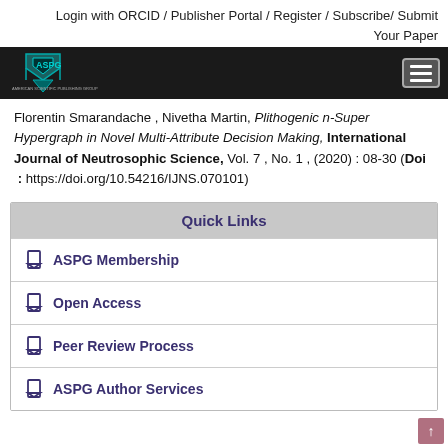Login with ORCID / Publisher Portal / Register / Subscribe/ Submit Your Paper
[Figure (logo): ASPG logo on dark navigation bar with hamburger menu icon]
Florentin Smarandache , Nivetha Martin, Plithogenic n-Super Hypergraph in Novel Multi-Attribute Decision Making, International Journal of Neutrosophic Science, Vol. 7 , No. 1 , (2020) : 08-30 (Doi : https://doi.org/10.54216/IJNS.070101)
Quick Links
ASPG Membership
Open Access
Peer Review Process
ASPG Author Services